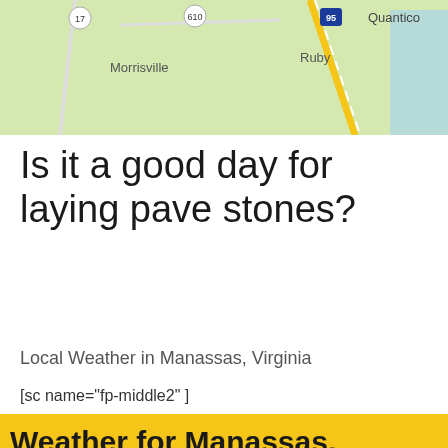[Figure (map): Google Maps style road map showing Morrisville, Ruby, Quantico areas with route 17, 610, 95 highways visible]
Is it a good day for laying pave stones?
Local Weather in Manassas, Virginia
[sc name="fp-middle2"]
[Figure (screenshot): Weather widget header showing 'Weather for Manassas,' with yellow/gold background]
| Today 29 Aug | Tue 30 Aug | Wed 31 Aug | Thu 1 Sep | Fri 2 Sep | Sat 3 Sep | Sun 4 Sep | Mo 5 S |
| --- | --- | --- | --- | --- | --- | --- | --- |
| ☀ sunny icon | ⛈ rain icon | ⛈ rain icon | ☀ sunny icon | ☀ sunny icon | ☁ cloudy icon | ⛈ rain icon | partial |